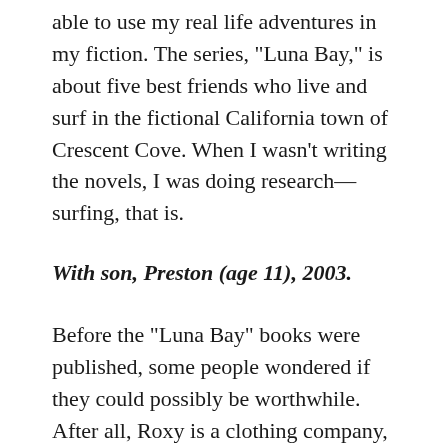able to use my real life adventures in my fiction. The series, "Luna Bay," is about five best friends who live and surf in the fictional California town of Crescent Cove. When I wasn't writing the novels, I was doing research—surfing, that is.
With son, Preston (age 11), 2003.
Before the "Luna Bay" books were published, some people wondered if they could possibly be worthwhile. After all, Roxy is a clothing company, not a publisher. Maybe the books would be nothing but one long ad for surfer chick cloth...